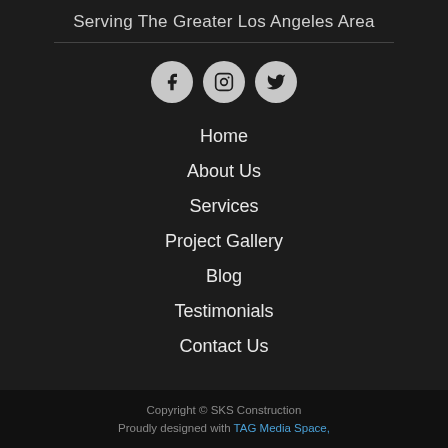Serving The Greater Los Angeles Area
[Figure (illustration): Three social media icon circles: Facebook (f), Instagram (camera), Twitter (bird)]
Home
About Us
Services
Project Gallery
Blog
Testimonials
Contact Us
Copyright © SKS Construction
Proudly designed with TAG Media Space,